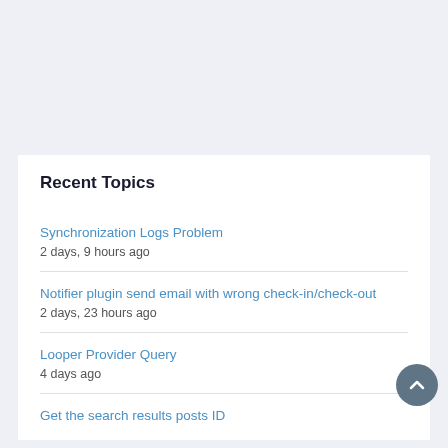Recent Topics
Synchronization Logs Problem
2 days, 9 hours ago
Notifier plugin send email with wrong check-in/check-out
2 days, 23 hours ago
Looper Provider Query
4 days ago
Get the search results posts ID